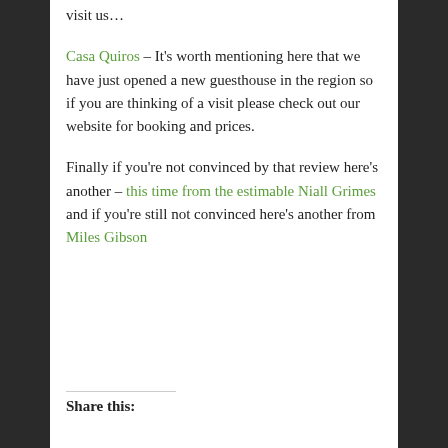visit us…
Casa Quiros – It's worth mentioning here that we have just opened a new guesthouse in the region so if you are thinking of a visit please check out our website for booking and prices.
Finally if you're not convinced by that review here's another – this time from the estimable Niall Grimes and if you're still not convinced here's another from Miles Gibson
Share this: